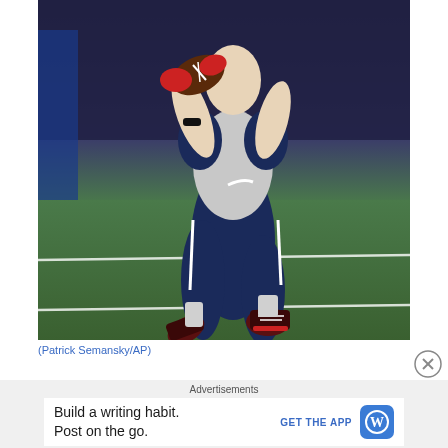[Figure (photo): A New England Patriots football player in navy uniform running with a football, caught mid-stride on a green turf field with stadium lights in background. Player wearing red gloves and red-accented cleats.]
(Patrick Semansky/AP)
Advertisements
Build a writing habit. Post on the go. GET THE APP